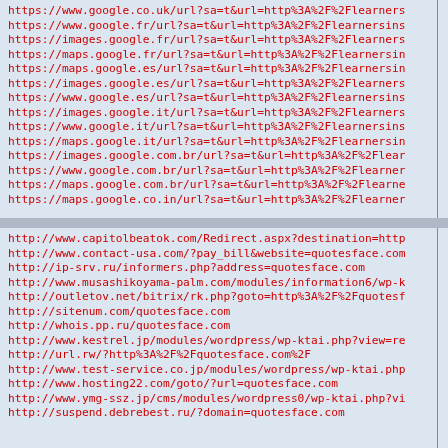https://www.google.co.uk/url?sa=t&url=http%3A%2F%2Flearners
https://www.google.fr/url?sa=t&url=http%3A%2F%2Flearnersins
https://images.google.fr/url?sa=t&url=http%3A%2F%2Flearners
https://maps.google.fr/url?sa=t&url=http%3A%2F%2Flearnersin
https://maps.google.es/url?sa=t&url=http%3A%2F%2Flearnersin
https://images.google.es/url?sa=t&url=http%3A%2F%2Flearners
https://www.google.es/url?sa=t&url=http%3A%2F%2Flearnersins
https://images.google.it/url?sa=t&url=http%3A%2F%2Flearners
https://www.google.it/url?sa=t&url=http%3A%2F%2Flearnersins
https://maps.google.it/url?sa=t&url=http%3A%2F%2Flearnersin
https://images.google.com.br/url?sa=t&url=http%3A%2F%2Flear
https://www.google.com.br/url?sa=t&url=http%3A%2F%2Flearner
https://maps.google.com.br/url?sa=t&url=http%3A%2F%2Flearne
https://maps.google.co.in/url?sa=t&url=http%3A%2F%2Flearner
http://www.capitolbeatok.com/Redirect.aspx?destination=http
http://www.contact-usa.com/?pay_bill&website=quotesface.com
http://ip-srv.ru/informers.php?address=quotesface.com
http://www.musashikoyama-palm.com/modules/information6/wp-k
http://outletov.net/bitrix/rk.php?goto=http%3A%2F%2F2Fquotesf
http://sitenum.com/quotesface.com
http://whois.pp.ru/quotesface.com
http://www.kestrel.jp/modules/wordpress/wp-ktai.php?view=re
http://url.rw/?http%3A%2F%2Fquotesface.com%2F
http://www.test-service.co.jp/modules/wordpress/wp-ktai.php
http://www.hosting22.com/goto/?url=quotesface.com
http://www.ymg-ssz.jp/cms/modules/wordpress0/wp-ktai.php?vi
http://suspend.debrebest.ru/?domain=quotesface.com